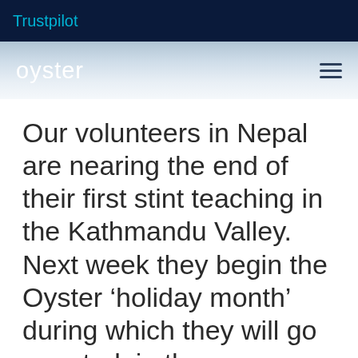Trustpilot
[Figure (logo): Oyster logo and hamburger menu navigation bar]
Our volunteers in Nepal are nearing the end of their first stint teaching in the Kathmandu Valley. Next week they begin the Oyster ‘holiday month’ during which they will go on a trek in the Himalayas,